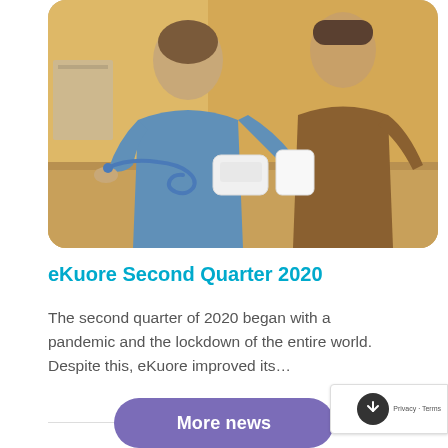[Figure (photo): Medical consultation scene showing a nurse or healthcare professional in blue scrubs and a patient in a brown shirt seated at a table with medical equipment including a stethoscope and blood pressure device.]
eKuore Second Quarter 2020
The second quarter of 2020 began with a pandemic and the lockdown of the entire world. Despite this, eKuore improved its…
More news